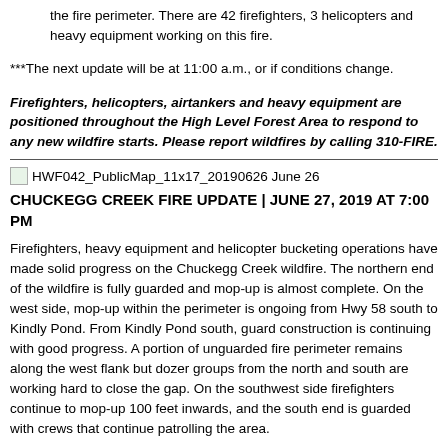the fire perimeter. There are 42 firefighters, 3 helicopters and heavy equipment working on this fire.
***The next update will be at 11:00 a.m., or if conditions change.
Firefighters, helicopters, airtankers and heavy equipment are positioned throughout the High Level Forest Area to respond to any new wildfire starts. Please report wildfires by calling 310-FIRE.
[Figure (other): Small map thumbnail icon labeled HWF042_PublicMap_11x17_20190626 June 26]
CHUCKEGG CREEK FIRE UPDATE | JUNE 27, 2019 AT 7:00 PM
Firefighters, heavy equipment and helicopter bucketing operations have made solid progress on the Chuckegg Creek wildfire. The northern end of the wildfire is fully guarded and mop-up is almost complete. On the west side, mop-up within the perimeter is ongoing from Hwy 58 south to Kindly Pond. From Kindly Pond south, guard construction is continuing with good progress. A portion of unguarded fire perimeter remains along the west flank but dozer groups from the north and south are working hard to close the gap. On the southwest side firefighters continue to mop-up 100 feet inwards, and the south end is guarded with crews that continue patrolling the area.
Similar to yesterday, the fire behaviour increased on the east side and it continues to be the most active part of the fire. All available helicopters worked dropping retardant and water on the eastern...